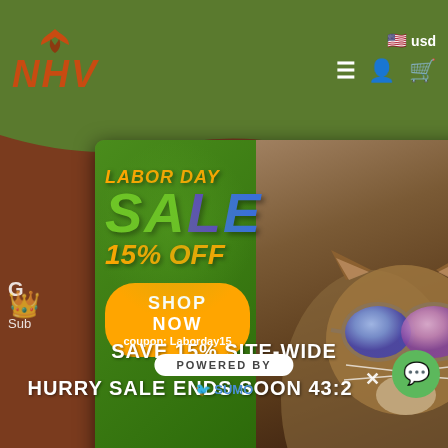[Figure (screenshot): NHV Natural Pet Products website header with green background, NHV logo in orange/red, hamburger menu, user icon, cart icon, and USD currency selector]
[Figure (infographic): Labor Day Sale popup ad showing a cat wearing sunglasses, text: LABOR DAY SALE 15% OFF, SHOP NOW button with coupon code Laborday15]
G ... lews
Sub ... for 10% off ... xclusive
SAVE 15% SITE-WIDE
HURRY SALE ENDS SOON  43:2
POWERED BY
SUMO